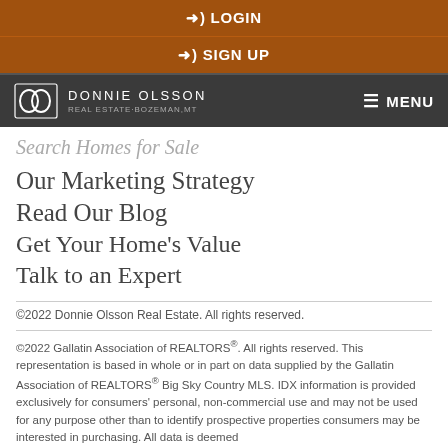➔) LOGIN
➔) SIGN UP
[Figure (logo): Donnie Olsson Real Estate logo with two overlapping circles and text DONNIE OLSSON REAL ESTATE·BOZEMAN,MT, with MENU button on right]
Search Homes for Sale
Our Marketing Strategy
Read Our Blog
Get Your Home's Value
Talk to an Expert
©2022 Donnie Olsson Real Estate. All rights reserved.
©2022 Gallatin Association of REALTORS®. All rights reserved. This representation is based in whole or in part on data supplied by the Gallatin Association of REALTORS® Big Sky Country MLS. IDX information is provided exclusively for consumers' personal, non-commercial use and may not be used for any purpose other than to identify prospective properties consumers may be interested in purchasing. All data is deemed